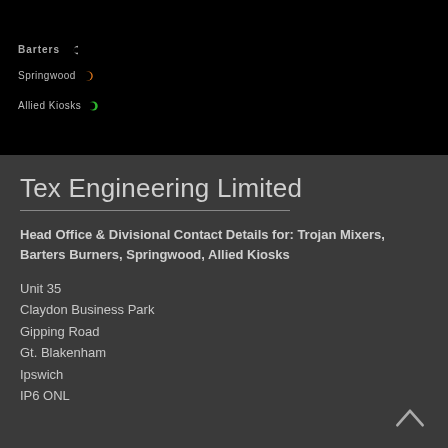[Figure (logo): Barters logo with crescent icon on black background]
[Figure (logo): Springwood logo with orange and green crescent icon on black background]
[Figure (logo): Allied Kiosks logo with green crescent icon on black background]
Tex Engineering Limited
Head Office & Divisional Contact Details for: Trojan Mixers, Barters Burners, Springwood, Allied Kiosks
Unit 35
Claydon Business Park
Gipping Road
Gt. Blakenham
Ipswich
IP6 ONL